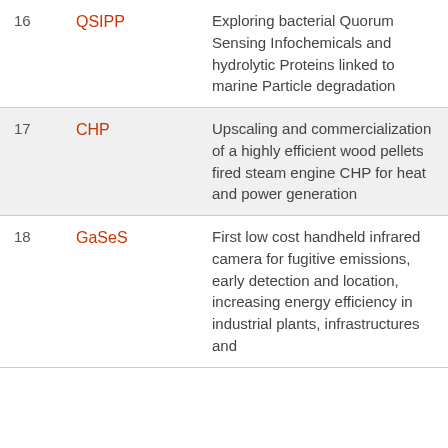| # | Code | Description |
| --- | --- | --- |
| 16 | QSIPP | Exploring bacterial Quorum Sensing Infochemicals and hydrolytic Proteins linked to marine Particle degradation |
| 17 | CHP | Upscaling and commercialization of a highly efficient wood pellets fired steam engine CHP for heat and power generation |
| 18 | GaSeS | First low cost handheld infrared camera for fugitive emissions, early detection and location, increasing energy efficiency in industrial plants, infrastructures and |